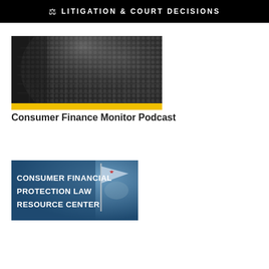LITIGATION & COURT DECISIONS
[Figure (photo): Close-up black and white photo of a microphone grille with metallic mesh pattern and yellow accent strip at bottom]
Consumer Finance Monitor Podcast
[Figure (photo): Image with blue background showing California flag with star, overlaid with bold white text reading: CONSUMER FINANCIAL PROTECTION LAW RESOURCE CENTER]